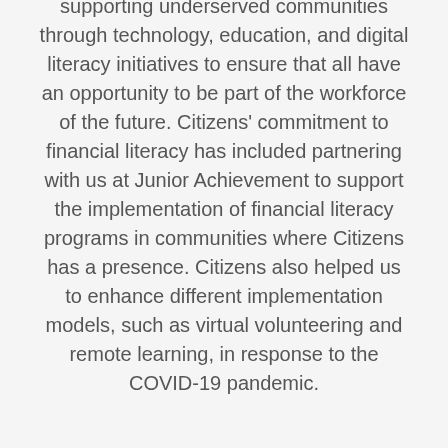supporting underserved communities through technology, education, and digital literacy initiatives to ensure that all have an opportunity to be part of the workforce of the future. Citizens' commitment to financial literacy has included partnering with us at Junior Achievement to support the implementation of financial literacy programs in communities where Citizens has a presence. Citizens also helped us to enhance different implementation models, such as virtual volunteering and remote learning, in response to the COVID-19 pandemic.